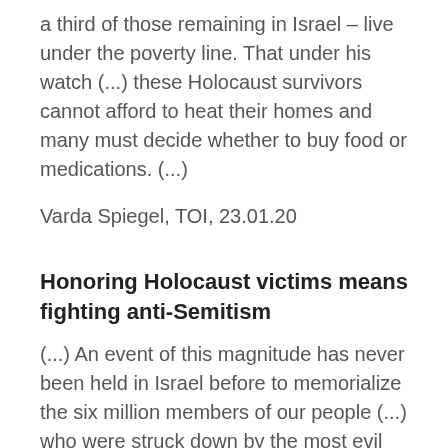a third of those remaining in Israel – live under the poverty line. That under his watch (...) these Holocaust survivors cannot afford to heat their homes and many must decide whether to buy food or medications. (...)
Varda Spiegel, TOI, 23.01.20
Honoring Holocaust victims means fighting anti-Semitism
(...) An event of this magnitude has never been held in Israel before to memorialize the six million members of our people (...) who were struck down by the most evil killing machine known to humankind. This impressive event reflects an international consensus regarding recognition of the dreadful uniqueness of the